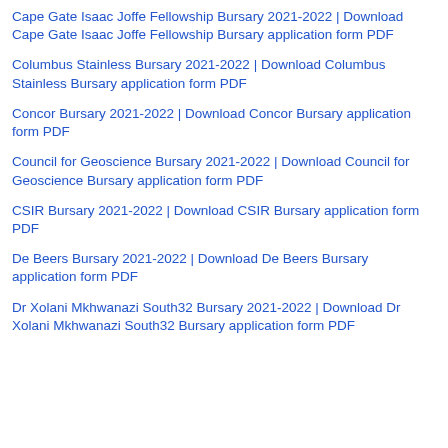Cape Gate Isaac Joffe Fellowship Bursary 2021-2022 | Download Cape Gate Isaac Joffe Fellowship Bursary application form PDF
Columbus Stainless Bursary 2021-2022 | Download Columbus Stainless Bursary application form PDF
Concor Bursary 2021-2022 | Download Concor Bursary application form PDF
Council for Geoscience Bursary 2021-2022 | Download Council for Geoscience Bursary application form PDF
CSIR Bursary 2021-2022 | Download CSIR Bursary application form PDF
De Beers Bursary 2021-2022 | Download De Beers Bursary application form PDF
Dr Xolani Mkhwanazi South32 Bursary 2021-2022 | Download Dr Xolani Mkhwanazi South32 Bursary application form PDF